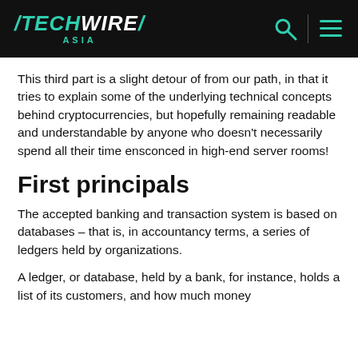TECHWIRE ASIA
This third part is a slight detour of from our path, in that it tries to explain some of the underlying technical concepts behind cryptocurrencies, but hopefully remaining readable and understandable by anyone who doesn't necessarily spend all their time ensconced in high-end server rooms!
First principals
The accepted banking and transaction system is based on databases – that is, in accountancy terms, a series of ledgers held by organizations.
A ledger, or database, held by a bank, for instance, holds a list of its customers, and how much money